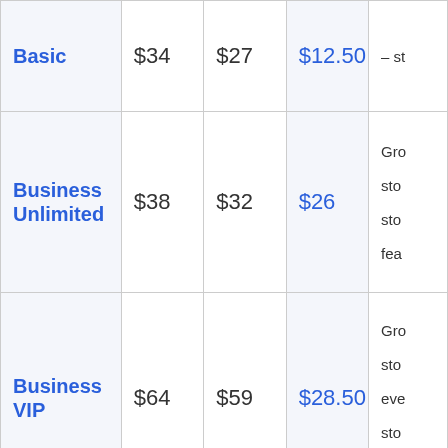| Plan | Price 1 | Price 2 | Price 3 | Description |
| --- | --- | --- | --- | --- |
| Basic | $34 | $27 | $12.50 | – st… |
| Business Unlimited | $38 | $32 | $26 | Gro… sto… sto… fea… |
| Business VIP | $64 | $59 | $28.50 | Gro… sto… eve… sto… pri… |
| Enterprise | $500+ | $500+ | $250+ | Ac… cus… |